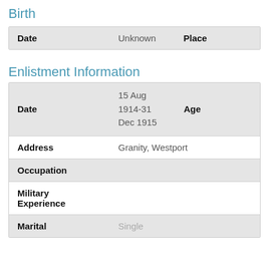Birth
| Label | Value | Label2 | Value2 |
| --- | --- | --- | --- |
| Date | Unknown | Place |  |
Enlistment Information
| Label | Value | Label2 | Value2 |
| --- | --- | --- | --- |
| Date | 15 Aug 1914-31 Dec 1915 | Age |  |
| Address | Granity, Westport |  |  |
| Occupation |  |  |  |
| Military Experience |  |  |  |
| Marital | Single |  |  |